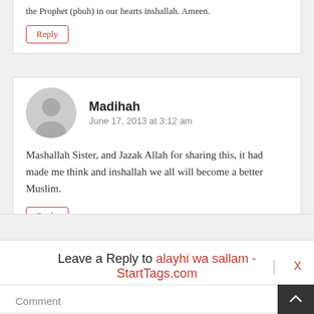the Prophet (pbuh) in our hearts inshallah. Ameen.
Reply
Madihah
June 17, 2013 at 3:12 am
Mashallah Sister, and Jazak Allah for sharing this, it had made me think and inshallah we all will become a better Muslim.
Reply
Leave a Reply to alayhi wa sallam - StartTags.com
X
Comment